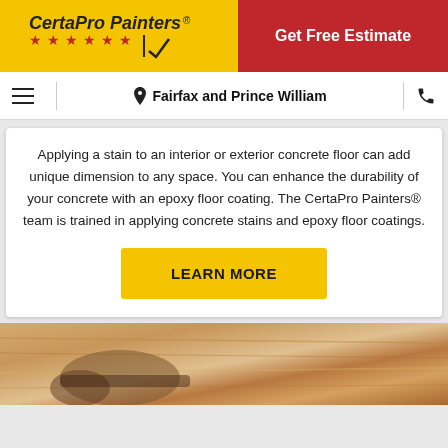[Figure (logo): CertaPro Painters logo on yellow background with red stars and divider, plus red Get Free Estimate button]
Fairfax and Prince William
Applying a stain to an interior or exterior concrete floor can add unique dimension to any space. You can enhance the durability of your concrete with an epoxy floor coating. The CertaPro Painters® team is trained in applying concrete stains and epoxy floor coatings.
LEARN MORE
[Figure (photo): Close-up photo of a hand using a tool on wood surface, warm brown tones]